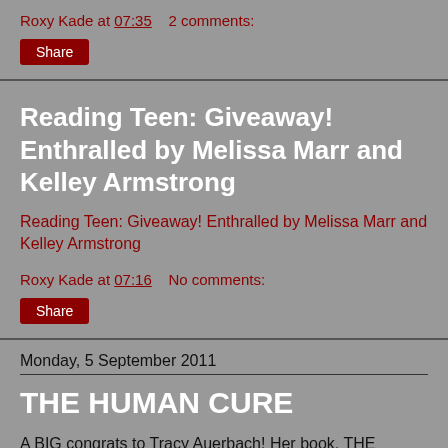Roxy Kade at 07:35    2 comments:
Share
Reading Teen: Giveaway! Enthralled by Melissa Marr and Kelley Armstrong
Reading Teen: Giveaway! Enthralled by Melissa Marr and Kelley Armstrong
Roxy Kade at 07:16    No comments:
Share
Monday, 5 September 2011
THE HUMAN CURE
A BIG congrats to Tracy Auerbach! Her book, THE HUMAN CURE, is set to release September 15th, 2011!!